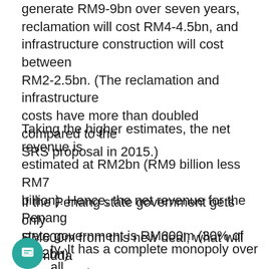generate RM9-9bn over seven years, reclamation will cost RM4-4.5bn, and infrastructure construction will cost between RM2-2.5bn. (The reclamation and infrastructure costs have more than doubled compared to the SRS proposal in 2015.)
Taking the higher estimates, the net revenue is estimated at RM2bn (RM9 billion less RM7 billion). Hence, the net revenue for the Penang state government is RM600m (30% of RM2bn).
If the Penang state government gets only RM600m from this new deal, what will Gamuda stand to gain?
ty. It has a complete monopoly over all reclamation work. All proceeds from land sales